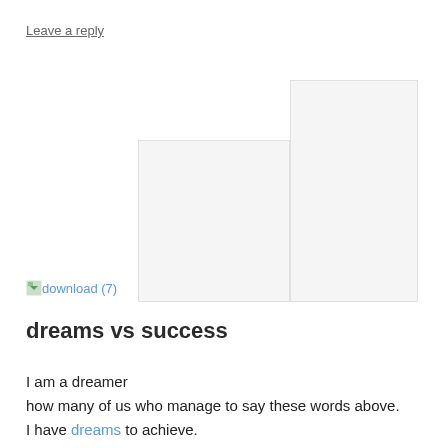Leave a reply
[Figure (illustration): Two overlapping white/light grey rectangular placeholder image boxes side by side, with a broken image link labeled 'download (7)' in the lower left area.]
dreams vs success
I am a dreamer
how many of us who manage to say these words above.
I have dreams to achieve.